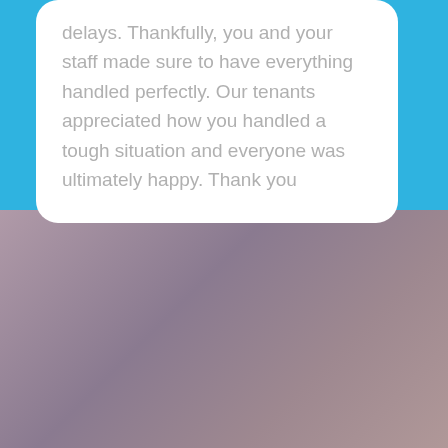delays. Thankfully, you and your staff made sure to have everything handled perfectly. Our tenants appreciated how you handled a tough situation and everyone was ultimately happy. Thank you